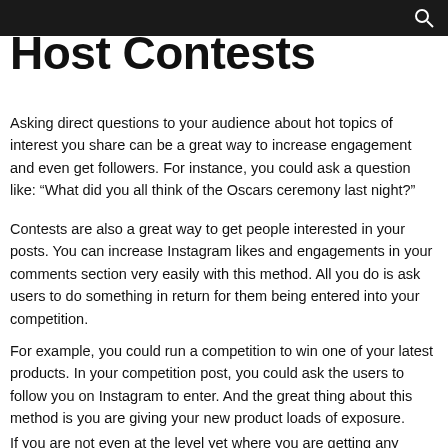Host Contests
Asking direct questions to your audience about hot topics of interest you share can be a great way to increase engagement and even get followers. For instance, you could ask a question like: “What did you all think of the Oscars ceremony last night?”
Contests are also a great way to get people interested in your posts. You can increase Instagram likes and engagements in your comments section very easily with this method. All you do is ask users to do something in return for them being entered into your competition.
For example, you could run a competition to win one of your latest products. In your competition post, you could ask the users to follow you on Instagram to enter. And the great thing about this method is you are giving your new product loads of exposure.
If you are not even at the level yet where you are getting any